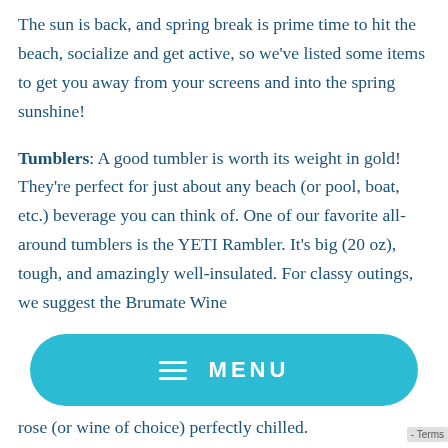The sun is back, and spring break is prime time to hit the beach, socialize and get active, so we've listed some items to get you away from your screens and into the spring sunshine!
Tumblers: A good tumbler is worth its weight in gold! They're perfect for just about any beach (or pool, boat, etc.) beverage you can think of. One of our favorite all-around tumblers is the YETI Rambler. It's big (20 oz), tough, and amazingly well-insulated. For classy outings, we suggest the Brumate Wine
[Figure (other): A teal/cyan rounded pill-shaped menu bar button with three horizontal lines (hamburger icon) and the text MENU in white capital letters with letter-spacing]
rose (or wine of choice) perfectly chilled.